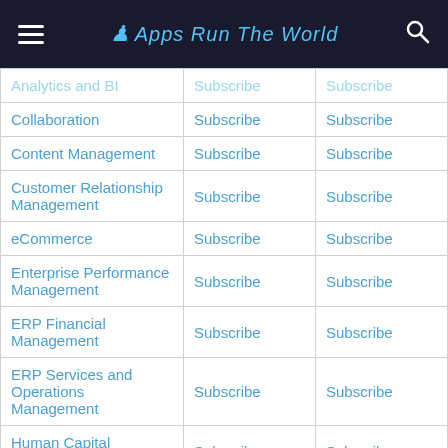Apps Run The World
| Category | Subscribe | Subscribe |
| --- | --- | --- |
| Analytics and BI | Subscribe | Subscribe |
| Collaboration | Subscribe | Subscribe |
| Content Management | Subscribe | Subscribe |
| Customer Relationship Management | Subscribe | Subscribe |
| eCommerce | Subscribe | Subscribe |
| Enterprise Performance Management | Subscribe | Subscribe |
| ERP Financial Management | Subscribe | Subscribe |
| ERP Services and Operations Management | Subscribe | Subscribe |
| Human Capital Management | Subscribe | Subscribe |
| IT Service Management | Subscribe | Subscribe |
| PLM/Engineering | Subscribe | Subscribe |